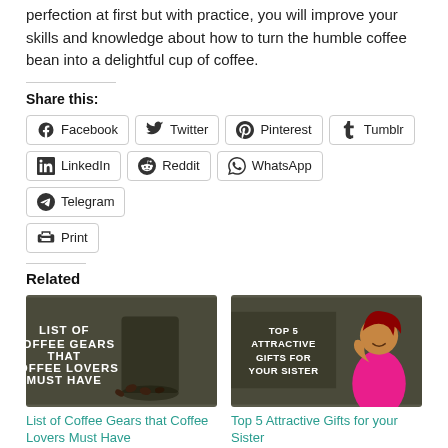perfection at first but with practice, you will improve your skills and knowledge about how to turn the humble coffee bean into a delightful cup of coffee.
Share this:
[Figure (infographic): Social share buttons: Facebook, Twitter, Pinterest, Tumblr, LinkedIn, Reddit, WhatsApp, Telegram, Print]
Related
[Figure (photo): Thumbnail image with text: LIST OF COFFEE GEARS THAT COFFEE LOVERS MUST HAVE]
List of Coffee Gears that Coffee Lovers Must Have
March 2, 2023
[Figure (photo): Thumbnail image with text: TOP 5 ATTRACTIVE GIFTS FOR YOUR SISTER, showing a woman smiling]
Top 5 Attractive Gifts for your Sister
June 17, 2023